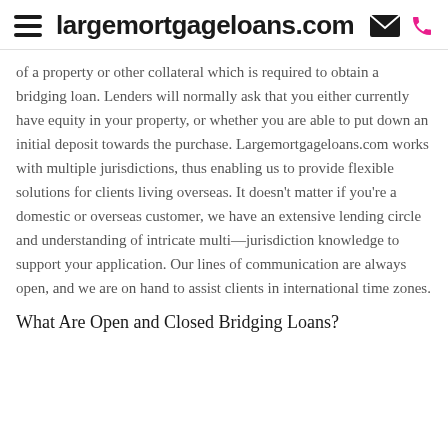largemortgageloans.com
of a property or other collateral which is required to obtain a bridging loan. Lenders will normally ask that you either currently have equity in your property, or whether you are able to put down an initial deposit towards the purchase. Largemortgageloans.com works with multiple jurisdictions, thus enabling us to provide flexible solutions for clients living overseas. It doesn't matter if you're a domestic or overseas customer, we have an extensive lending circle and understanding of intricate multi—jurisdiction knowledge to support your application. Our lines of communication are always open, and we are on hand to assist clients in international time zones.
What Are Open and Closed Bridging Loans?